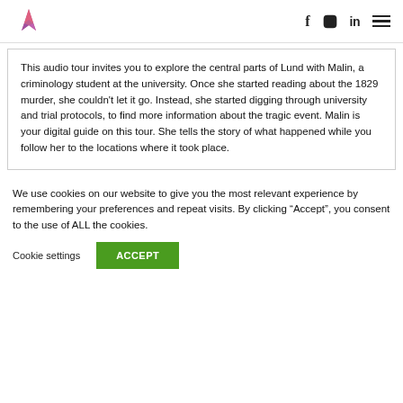[Logo] [Facebook] [Instagram] [LinkedIn] [Menu]
This audio tour invites you to explore the central parts of Lund with Malin, a criminology student at the university. Once she started reading about the 1829 murder, she couldn't let it go. Instead, she started digging through university and trial protocols, to find more information about the tragic event. Malin is your digital guide on this tour. She tells the story of what happened while you follow her to the locations where it took place.
We use cookies on our website to give you the most relevant experience by remembering your preferences and repeat visits. By clicking “Accept”, you consent to the use of ALL the cookies.
Cookie settings   ACCEPT